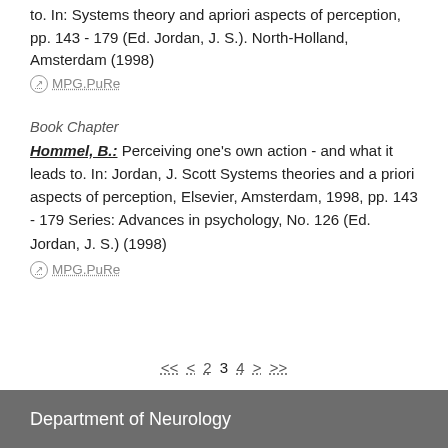to. In: Systems theory and apriori aspects of perception, pp. 143 - 179 (Ed. Jordan, J. S.). North-Holland, Amsterdam (1998)
⊘ MPG.PuRe
Book Chapter
Hommel, B.: Perceiving one's own action - and what it leads to. In: Jordan, J. Scott Systems theories and a priori aspects of perception, Elsevier, Amsterdam, 1998, pp. 143 - 179 Series: Advances in psychology, No. 126 (Ed. Jordan, J. S.) (1998)
⊘ MPG.PuRe
<< < 2 3 4 > >>
Department of Neurology